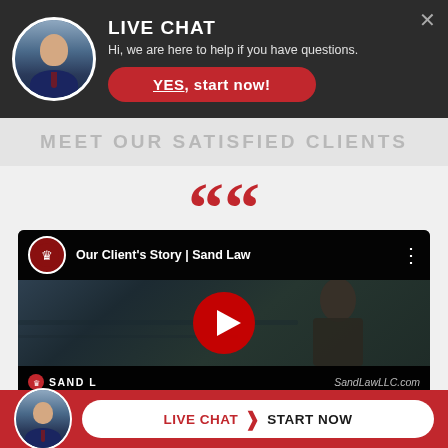[Figure (screenshot): Live chat banner with attorney avatar, 'LIVE CHAT' heading, subtitle 'Hi, we are here to help if you have questions.', and red 'YES, start now!' button on dark background]
MEET OUR SATISFIED CLIENTS
““
[Figure (screenshot): YouTube video embed titled 'Our Client's Story | Sand Law' showing an elderly man being interviewed in a dark setting, with red YouTube play button overlay and Sand Law branding]
[Figure (screenshot): Bottom live chat bar with attorney photo, 'LIVE CHAT > START NOW' button on red background]